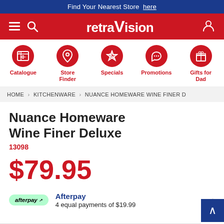Find Your Nearest Store here
[Figure (logo): retraVision logo in white on red background with hamburger menu, search icon, and account icon]
[Figure (infographic): Navigation icons row: Catalogue, Store Finder, Specials, Promotions, Gifts for Dad — all in red circles on white background]
HOME > KITCHENWARE > NUANCE HOMEWARE WINE FINER D
Nuance Homeware Wine Finer Deluxe
13098
$79.95
Afterpay 4 equal payments of $19.99